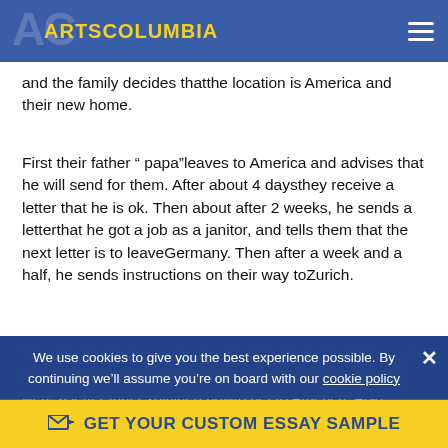ARTSCOLUMBIA
and the family decides thatthe location is America and their new home.
First their father “ papa“leaves to America and advises that he will send for them. After about 4 daysthey receive a letter that he is ok. Then about after 2 weeks, he sends a letterthat he got a job as a janitor, and tells them that the next letter is to leaveGermany. Then after a week and a half, he sends instructions on their way toZurich.
Then the family leaves leaving their family behind. They get there andget the room where Papa said to stay, and there were a letter that explained howto get to America. Also telling them that a letter will come to go
We use cookies to give you the best experience possible. By continuing we’ll assume you’re on board with our cookie policy
GET YOUR CUSTOM ESSAY SAMPLE